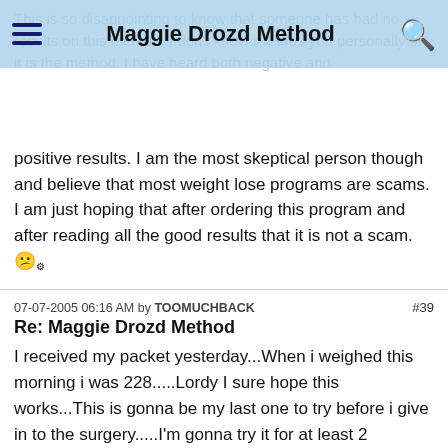Maggie Drozd Method
This is so disappointing to know that someone has had no results on this method. I don't know if it tries you personally or it is the method. I have heard both negative and positive results. I am the most skeptical person though and believe that most weight lose programs are scams. I am just hoping that after ordering this program and after reading all the good results that it is not a scam.
07-07-2005 06:16 AM by TOOMUCHBACK #39
Re: Maggie Drozd Method
I received my packet yesterday...When i weighed this morning i was 228.....Lordy I sure hope this works...This is gonna be my last one to try before i give in to the surgery.....I'm gonna try it for at least 2 months..so if anyone has any good suggestions that would help me..i would greatly appreciate it...I want to lose about 60-80 lbs...
07-07-2005 09:07 AM by Kadith... #40